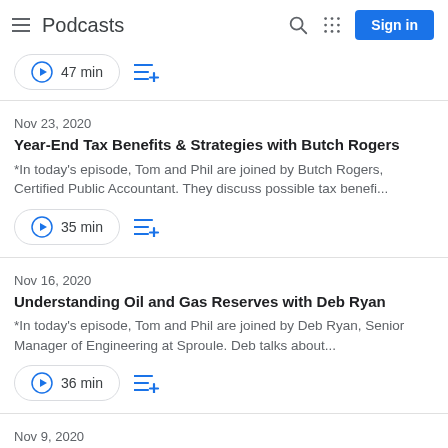Podcasts
47 min
Nov 23, 2020
Year-End Tax Benefits & Strategies with Butch Rogers
*In today's episode, Tom and Phil are joined by Butch Rogers, Certified Public Accountant. They discuss possible tax benefi...
35 min
Nov 16, 2020
Understanding Oil and Gas Reserves with Deb Ryan
*In today's episode, Tom and Phil are joined by Deb Ryan, Senior Manager of Engineering at Sproule. Deb talks about...
36 min
Nov 9, 2020